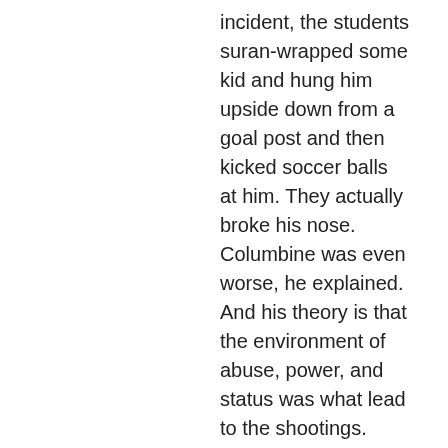incident, the students suran-wrapped some kid and hung him upside down from a goal post and then kicked soccer balls at him. They actually broke his nose. Columbine was even worse, he explained. And his theory is that the environment of abuse, power, and status was what lead to the shootings.
Here in Ecuador, I've observed a very different social dynamic among teenagers. In the US, when